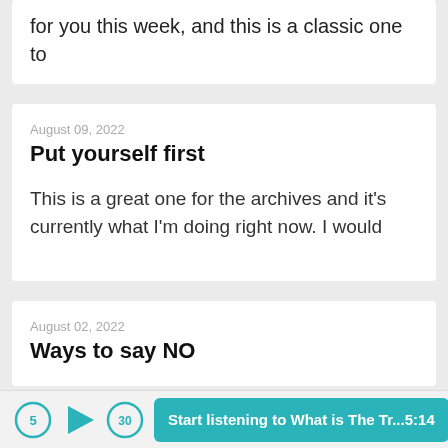for you this week, and this is a classic one to
August 09, 2022
Put yourself first
This is a great one for the archives and it's currently what I'm doing right now. I would
August 02, 2022
Ways to say NO
Start listening to What is The Tr... 5:14